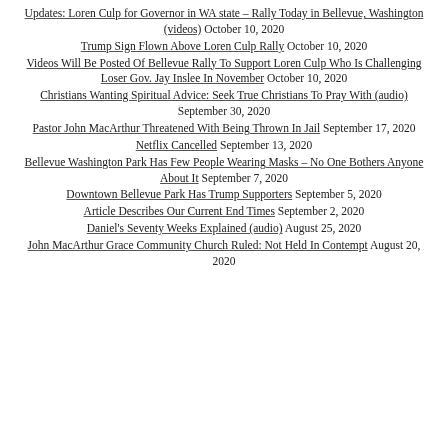Updates: Loren Culp for Governor in WA state – Rally Today in Bellevue, Washington (videos) October 10, 2020
Trump Sign Flown Above Loren Culp Rally October 10, 2020
Videos Will Be Posted Of Bellevue Rally To Support Loren Culp Who Is Challenging Loser Gov. Jay Inslee In November October 10, 2020
Christians Wanting Spiritual Advice: Seek True Christians To Pray With (audio) September 30, 2020
Pastor John MacArthur Threatened With Being Thrown In Jail September 17, 2020
Netflix Cancelled September 13, 2020
Bellevue Washington Park Has Few People Wearing Masks – No One Bothers Anyone About It September 7, 2020
Downtown Bellevue Park Has Trump Supporters September 5, 2020
Article Describes Our Current End Times September 2, 2020
Daniel's Seventy Weeks Explained (audio) August 25, 2020
John MacArthur Grace Community Church Ruled: Not Held In Contempt August 20, 2020